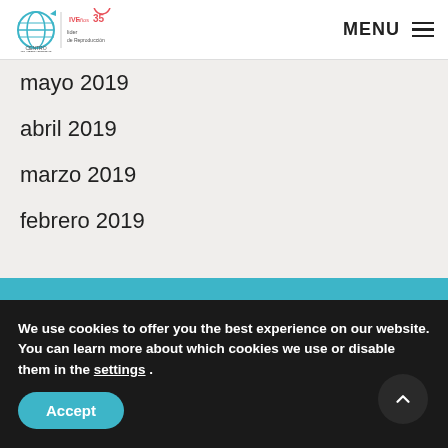Centro Gutenberg | IVF lider de Reproducción | MENU
mayo 2019
abril 2019
marzo 2019
febrero 2019
[Figure (illustration): Teal chevron/triangle decorative shape pointing upward above a teal footer band]
We use cookies to offer you the best experience on our website. You can learn more about which cookies we use or disable them in the settings .
Accept